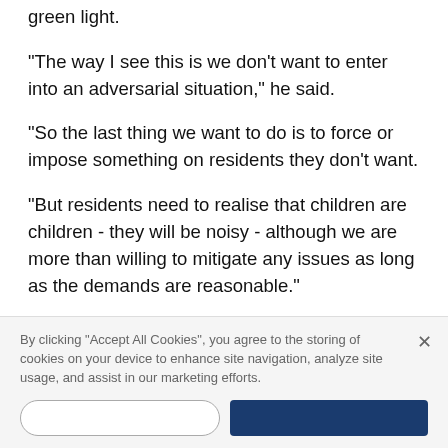green light.
"The way I see this is we don't want to enter into an adversarial situation," he said.
"So the last thing we want to do is to force or impose something on residents they don't want.
"But residents need to realise that children are children - they will be noisy - although we are more than willing to mitigate any issues as long as the demands are reasonable."
The application to turn Eldon House into a school is due to go before a Westminster Council planning committee on May 17.
By clicking “Accept All Cookies”, you agree to the storing of cookies on your device to enhance site navigation, analyze site usage, and assist in our marketing efforts.